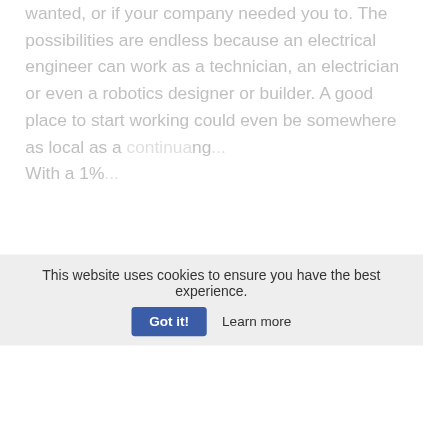wanted, or if your company needed you to. The possibilities are endless because an electrical engineer can work as a technician, an electrician or even a robotics designer or builder. A good place to start working could even be somewhere as local as a... With a 1%...
KEEP READING ▼
RELATED
Capstone report senior analysis paper - FIU - Essay
This website uses cookies to ensure you have the best experience.
Got it!   Learn more